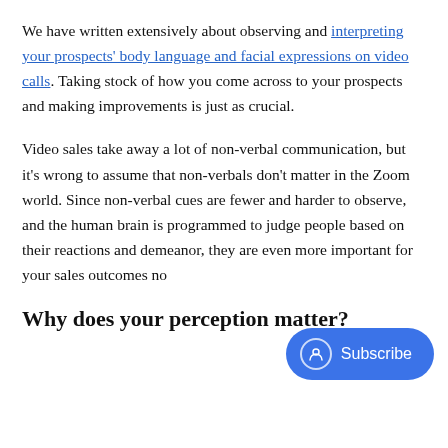We have written extensively about observing and interpreting your prospects' body language and facial expressions on video calls. Taking stock of how you come across to your prospects and making improvements is just as crucial.
Video sales take away a lot of non-verbal communication, but it's wrong to assume that non-verbals don't matter in the Zoom world. Since non-verbal cues are fewer and harder to observe, and the human brain is programmed to judge people based on their reactions and demeanor, they are even more important for your sales outcomes no...
Why does your perception matter?